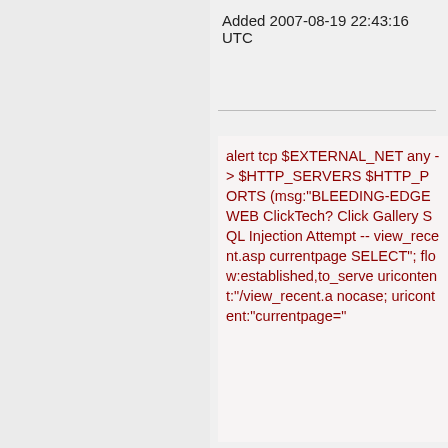Added 2007-08-19 22:43:16 UTC
alert tcp $EXTERNAL_NET any -> $HTTP_SERVERS $HTTP_PORTS (msg:"BLEEDING-EDGE WEB ClickTech? Click Gallery SQL Injection Attempt -- view_recent.asp currentpage SELECT"; flow:established,to_serve uricontent:"/view_recent.a nocase; uricontent:"currentpage="